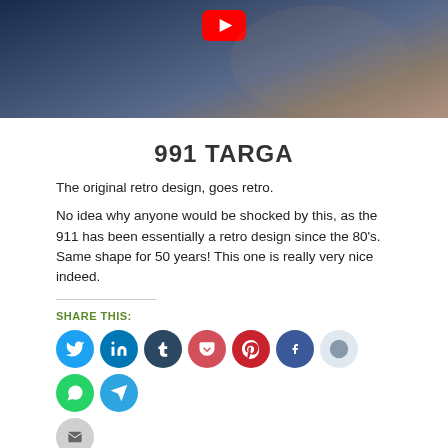[Figure (photo): Person driving a car, seen from outside through the window, dark blue tones, YouTube play button overlay visible at top]
991 TARGA
The original retro design, goes retro.
No idea why anyone would be shocked by this, as the 911 has been essentially a retro design since the 80's. Same shape for 50 years! This one is really very nice indeed.
SHARE THIS:
[Figure (infographic): Row of social sharing buttons: Twitter, LinkedIn, Tumblr, Pocket, Pinterest, Facebook, Reddit, WhatsApp, Telegram, Email]